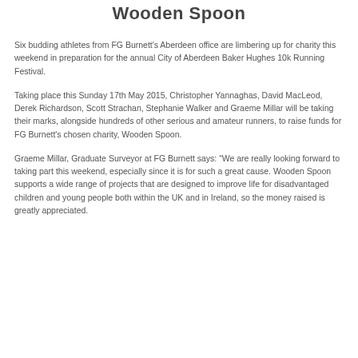Wooden Spoon
Six budding athletes from FG Burnett's Aberdeen office are limbering up for charity this weekend in preparation for the annual City of Aberdeen Baker Hughes 10k Running Festival.
Taking place this Sunday 17th May 2015, Christopher Yannaghas, David MacLeod, Derek Richardson, Scott Strachan, Stephanie Walker and Graeme Millar will be taking their marks, alongside hundreds of other serious and amateur runners, to raise funds for FG Burnett's chosen charity, Wooden Spoon.
Graeme Millar, Graduate Surveyor at FG Burnett says: “We are really looking forward to taking part this weekend, especially since it is for such a great cause. Wooden Spoon supports a wide range of projects that are designed to improve life for disadvantaged children and young people both within the UK and in Ireland, so the money raised is greatly appreciated.